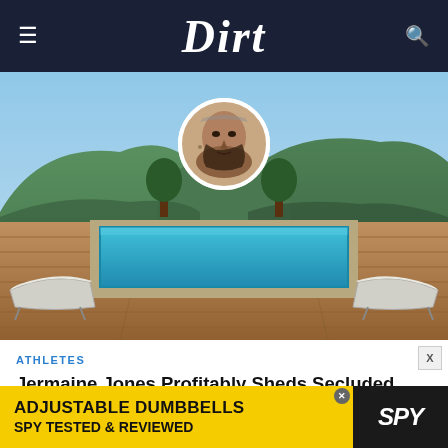Dirt
[Figure (photo): Outdoor swimming pool with two lounge chairs on a wooden deck, surrounded by hills and trees under a blue sky. A circular portrait inset of Jermaine Jones is overlaid at the top center.]
ATHLETES
Jermaine Jones Profitably Sheds Secluded Malibu Home
AUG 11, 2022 1:38 PM PT
[Figure (infographic): Advertisement banner: ADJUSTABLE DUMBBELLS SPY TESTED & REVIEWED with SPY logo]